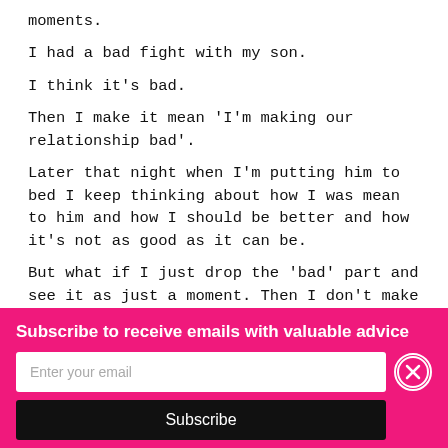moments.
I had a bad fight with my son.
I think it's bad.
Then I make it mean 'I'm making our relationship bad'.
Later that night when I'm putting him to bed I keep thinking about how I was mean to him and how I should be better and how it's not as good as it can be.
But what if I just drop the 'bad' part and see it as just a moment. Then I don't make it
Subscribe to receive emails with valuable advice
Enter your email
Subscribe